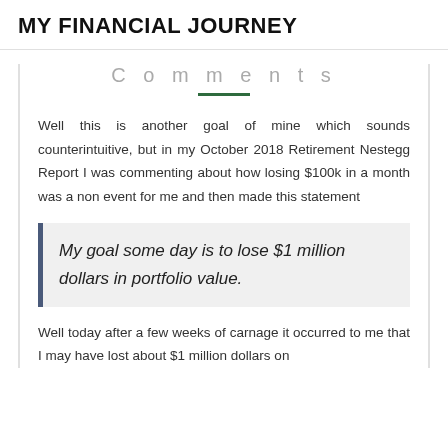MY FINANCIAL JOURNEY
Comments
Well this is another goal of mine which sounds counterintuitive, but in my October 2018 Retirement Nestegg Report I was commenting about how losing $100k in a month was a non event for me and then made this statement
My goal some day is to lose $1 million dollars in portfolio value.
Well today after a few weeks of carnage it occurred to me that I may have lost about $1 million dollars on